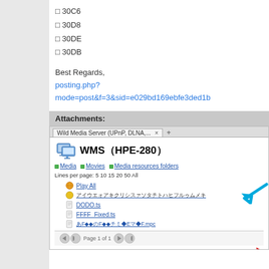□ 30C6
□ 30D8
□ 30DE
□ 30DB
Best Regards,
posting.php?mode=post&f=3&sid=e029bd169ebfe3ded1b...
Attachments:
[Figure (screenshot): Screenshot of Wild Media Server (WMS HPE-280) browser interface showing WMS title with icon, breadcrumb navigation (Media > Movies > Media resources folders), lines per page options, and a file list including Play All, Japanese filename, DODO.ts, FFFF_Fixed.ts, and a Japanese .mpg file. Blue arrow pointing to Play All. Red arrow pointing to the .mpg file. Pagination bar at bottom.]